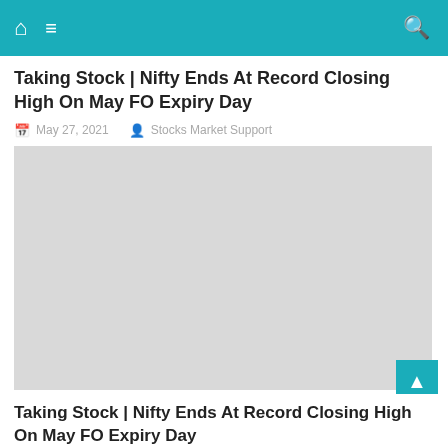Navigation bar with home, menu, and search icons
Taking Stock | Nifty Ends At Record Closing High On May FO Expiry Day
May 27, 2021   Stocks Market Support
[Figure (photo): Placeholder image (light grey rectangle) for the article]
Taking Stock | Nifty Ends At Record Closing High On May FO Expiry Day